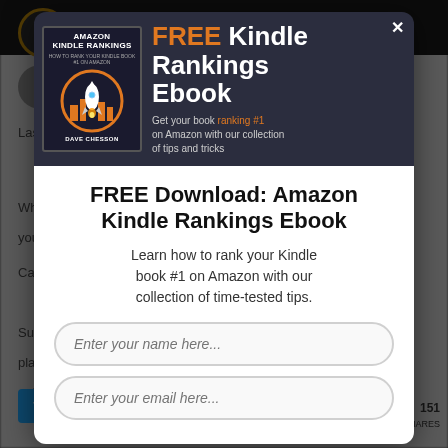[Figure (screenshot): Modal popup overlay for a free Amazon Kindle Rankings Ebook download. The popup has a dark navy header with a book cover image on the left and text 'FREE Kindle Rankings Ebook' on the right, and a white body section with a title, description, and two input fields for name and email.]
FREE Download: Amazon Kindle Rankings Ebook
Learn how to rank your Kindle book #1 on Amazon with our collection of time-tested tips.